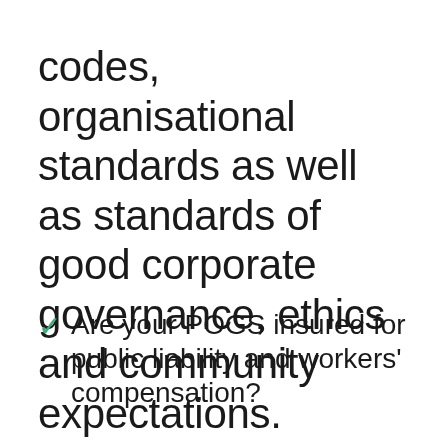codes, organisational standards as well as standards of good corporate governance, ethics and community expectations.
Are your POGS insured for public liability and workers' compensation?
Do all of your POGS...